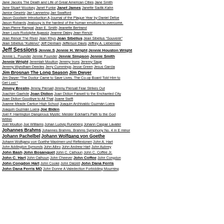Jane Jacobs The Death and Life of Great American Cities Jane Smith Jane Stuart Woolsey Janet Funke Janet James Janette Sadik-Kahn Janice Gewirtz Jan Lannering Jan Swafford Jason Goodwin Introduction A Journal of the Plague Year by Daniel Defoe Jason Robards Jealousy is the hardest of the human emotions to overcome. Jean-Pierre Rampal Jean E. Smith Jeanette Bertrand Jean Louis Rodolphe Agassiz Jeanne Daley Jean Renoir Jean Renoir The River Jean Rhys Jean Sibelius Jean Sibelius "Souvenir" Jean Sibelius "Kullervo" Jeff Denham Jefferson Davis Jeffrey A. Lieberman Jeff Sessions Jennie.S Jennie H. Wright Jennie Houston Wright Jennie L. Pounder Jennie Pounder Jennie Simpson Jennie Smith Jennie Wright Jeremiah Moulton Jeremy Irons Jeremy Sage Jeremy Wyndham Deedes Jerry Cummings Jesse Green Jesus Garcia Jim Brosnan The Long Season Jim Dwyer Jim Dwyer "The Doctor Came to Save Lives. The Co-op Board Told Him to Get Lost." Jimmy Breslin Jimmy Piersall Jimmy Piersall Fear Strikes Out Joachim Gaehde Joan Didion Joan Didion Farwell to the Enchanted City Joan Didion Goodbye to All That Joane Swift Joanne Meade Canton High School Joaquin Archivaldo Guzmán Loera Joaquin Guzmán Loera Joe Biden Joel F. Harrington Dangerous Mystic: Meister Eckhart's Path to the God Within Joel Moulton Joe Williams Johan Ludvig Runeberg Johann Caspar Lavater Johannes Brahms Johannes Brahms. Brahms Symphony No. 4 in E minor Johann Pachelbel Johann Wolfgang von Goethe Johann Wolfgang von Goethe Maximen und Reflexionen John A. Hart John Addington Symonds John Albro John Andrew Hart John Aubrey John Bash John Bosanquet John C. Calhoun John C. Coffee Jr. John C. Hart John Calhoun John Cheever John Coffee John Congdon John Congdon Hart John Cooke John Dalzell John Dana Ferris John Dana Ferris MD John Donne A Valedection Forbidding Mourning